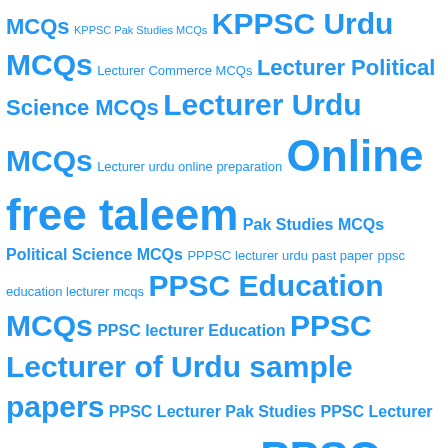[Figure (infographic): Tag cloud with blue text showing various educational MCQ and exam preparation topics including PPSC, KPPSC, SPSC subject MCQs and past papers]